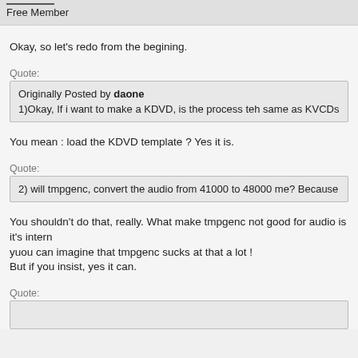Free Member
Okay, so let's redo from the begining.
Quote:
Originally Posted by daone
1)Okay, If i want to make a KDVD, is the process teh same as KVCDs acce
You mean : load the KDVD template ? Yes it is.
Quote:
2) will tmpgenc, convert the audio from 41000 to 48000 me? Because i follo
You shouldn't do that, really. What make tmpgenc not good for audio is it's intern
yuou can imagine that tmpgenc sucks at that a lot !
But if you insist, yes it can.
Quote: